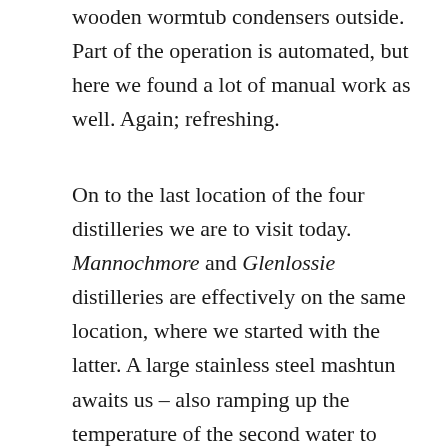wooden wormtub condensers outside. Part of the operation is automated, but here we found a lot of manual work as well. Again; refreshing.
On to the last location of the four distilleries we are to visit today. Mannochmore and Glenlossie distilleries are effectively on the same location, where we started with the latter. A large stainless steel mashtun awaits us – also ramping up the temperature of the second water to gain time, which feeds eight wooden washbacks where a long, 80 hour fermentation takes place. Two more washbacks are planned to be installed, in order to raise the number of washes from 16 to 21/22 per week. The new washbacks will be made from stainless steel. The three sets of stills are all equipped purifiers, and are the last of the equipment in the distillery